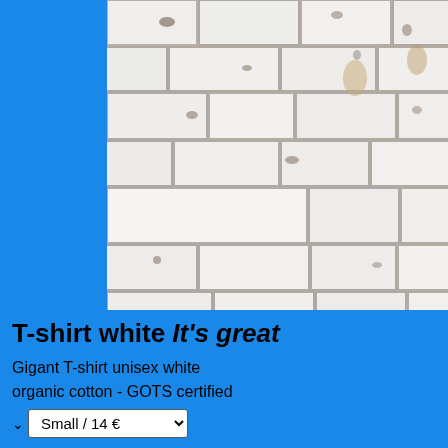[Figure (photo): Photo of a white-painted brick wall with rough texture and visible mortar gaps, on a bright blue background]
T-shirt white It's great
Gigant T-shirt unisex white
organic cotton - GOTS certified
Small / 14 €